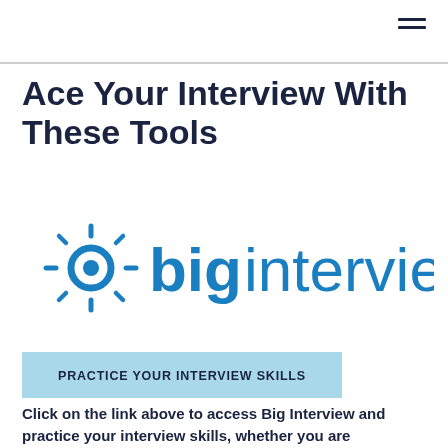Ace Your Interview With These Tools
[Figure (logo): Big Interview logo: a blue sun/eye icon followed by the text 'biginterview' in blue, with 'big' in bold and 'interview' in regular weight]
PRACTICE YOUR INTERVIEW SKILLS
Click on the link above to access Big Interview and practice your interview skills, whether you are interviewing for an